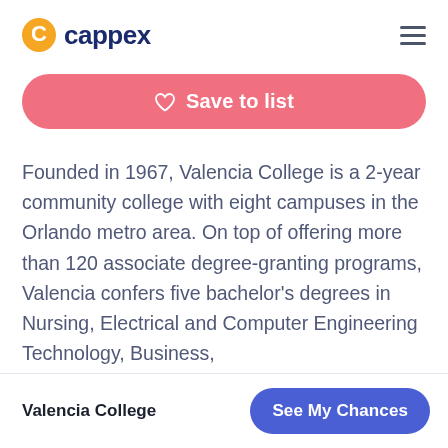cappex
Save to list
Founded in 1967, Valencia College is a 2-year community college with eight campuses in the Orlando metro area. On top of offering more than 120 associate degree-granting programs, Valencia confers five bachelor's degrees in Nursing, Electrical and Computer Engineering Technology, Business,
Valencia College  See My Chances